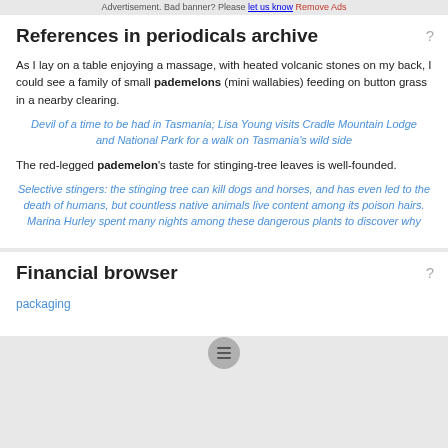Advertisement. Bad banner? Please let us know Remove Ads
References in periodicals archive
As I lay on a table enjoying a massage, with heated volcanic stones on my back, I could see a family of small pademelons (mini wallabies) feeding on button grass in a nearby clearing.
Devil of a time to be had in Tasmania; Lisa Young visits Cradle Mountain Lodge and National Park for a walk on Tasmania's wild side
The red-legged pademelon's taste for stinging-tree leaves is well-founded.
Selective stingers: the stinging tree can kill dogs and horses, and has even led to the death of humans, but countless native animals live content among its poison hairs. Marina Hurley spent many nights among these dangerous plants to discover why
Financial browser
packaging